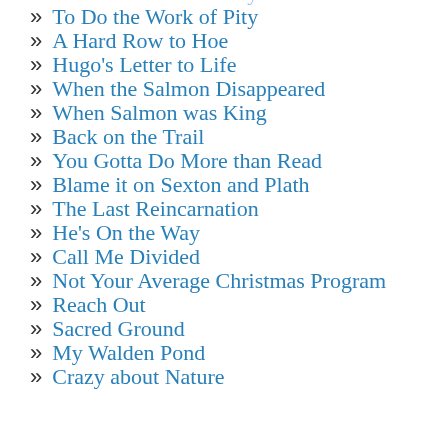» To Do the Work of Pity
» A Hard Row to Hoe
» Hugo's Letter to Life
» When the Salmon Disappeared
» When Salmon was King
» Back on the Trail
» You Gotta Do More than Read
» Blame it on Sexton and Plath
» The Last Reincarnation
» He's On the Way
» Call Me Divided
» Not Your Average Christmas Program
» Reach Out
» Sacred Ground
» My Walden Pond
» Crazy about Nature